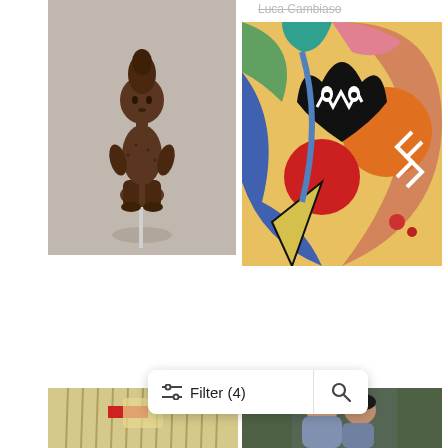Luca Cambiaso
[Figure (photo): African wooden sculpture: Mother-and-Child Figure (Bwanga bwa Chibola), a dark brown carved figure on a metal pin, against gray background]
[Figure (photo): Colorful abstract painting 'Movements, 1913' by Marsden Hartley with bold geometric shapes in red, orange, blue, green and black]
Mother-and-Child Figure (Bwanga bwa Chibola), Mid–late 19th century
Luluwa
Movements, 1913
Marsden Hartley
[Figure (photo): African decorative garment or textile with fringe, beads and red accents, partially visible at bottom left]
[Figure (photo): Painting of figures, two people close together, partially visible at bottom right]
Filter (4)